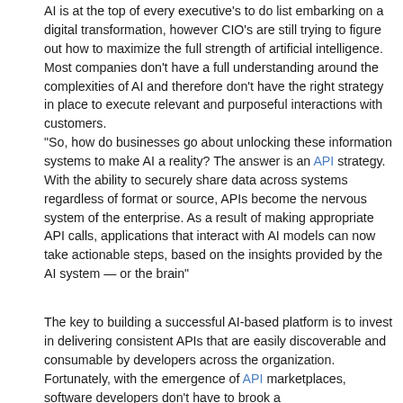AI is at the top of every executive’s to do list embarking on a digital transformation, however CIO’s are still trying to figure out how to maximize the full strength of artificial intelligence. Most companies don’t have a full understanding around the complexities of AI and therefore don’t have the right strategy in place to execute relevant and purposeful interactions with customers.
“So, how do businesses go about unlocking these information systems to make AI a reality? The answer is an API strategy. With the ability to securely share data across systems regardless of format or source, APIs become the nervous system of the enterprise. As a result of making appropriate API calls, applications that interact with AI models can now take actionable steps, based on the insights provided by the AI system — or the brain”
The key to building a successful AI-based platform is to invest in delivering consistent APIs that are easily discoverable and consumable by developers across the organization. Fortunately, with the emergence of API marketplaces, software developers don’t have to brook a